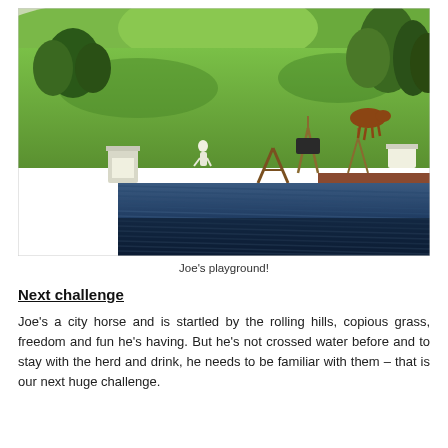[Figure (photo): Aerial view of a green rolling hillside farm with a person walking, horses, equipment, and a corrugated metal roof in the foreground. Trees line the background hills.]
Joe's playground!
Next challenge
Joe's a city horse and is startled by the rolling hills, copious grass, freedom and fun he's having. But he's not crossed water before and to stay with the herd and drink, he needs to be familiar with them – that is our next huge challenge.